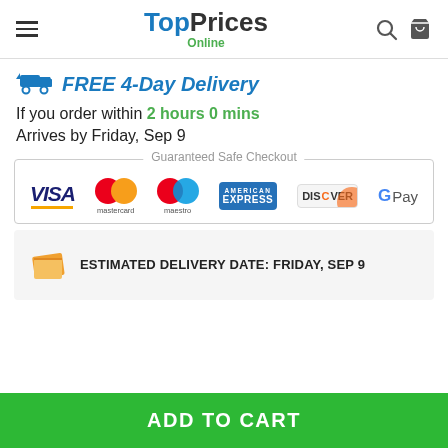TopPrices Online
FREE 4-Day Delivery
If you order within 2 hours 0 mins
Arrives by Friday, Sep 9
[Figure (infographic): Guaranteed Safe Checkout section showing payment logos: Visa, Mastercard, Maestro, American Express, Discover, Google Pay]
ESTIMATED DELIVERY DATE: FRIDAY, SEP 9
ADD TO CART